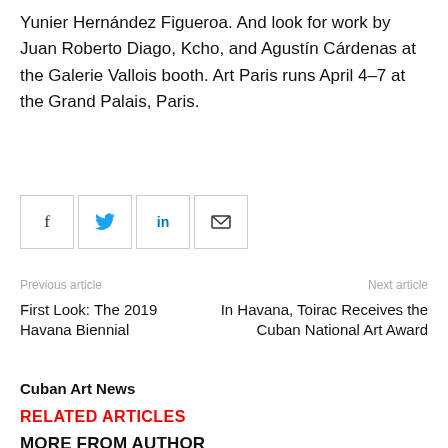Yunier Hernández Figueroa. And look for work by Juan Roberto Diago, Kcho, and Agustín Cárdenas at the Galerie Vallois booth. Art Paris runs April 4–7 at the Grand Palais, Paris.
[Figure (infographic): Social share buttons: Facebook (f), Twitter (bird), LinkedIn (in), Email (envelope)]
Previous article
Next article
First Look: The 2019 Havana Biennial
In Havana, Toirac Receives the Cuban National Art Award
Cuban Art News
RELATED ARTICLES
MORE FROM AUTHOR